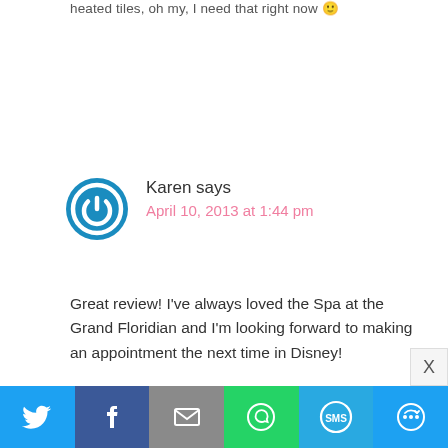heated tiles, oh my, I need that right now 🙂
[Figure (illustration): Blue circular power/user avatar icon for Karen]
Karen says
April 10, 2013 at 1:44 pm
Great review! I’ve always loved the Spa at the Grand Floridian and I’m looking forward to making an appointment the next time in Disney!
[Figure (illustration): Blue circular power/user avatar icon for Jeanne Derr]
Jeanne Derr says
April 10, 2013 at 12:53 pm
It was a wonderful story, thanks for sharing. I would love to
[Figure (infographic): Social sharing bar with Twitter, Facebook, Email, WhatsApp, SMS, and More buttons]